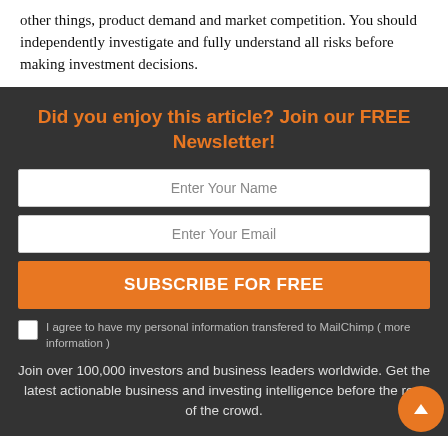other things, product demand and market competition. You should independently investigate and fully understand all risks before making investment decisions.
Did you enjoy this article? Join our FREE Newsletter!
[Figure (other): Newsletter signup form with name field, email field, subscribe button, and checkbox for MailChimp data transfer consent]
Join over 100,000 investors and business leaders worldwide. Get the latest actionable business and investing intelligence before the rest of the crowd.